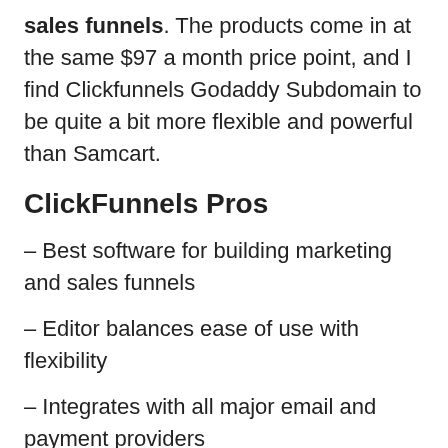sales funnels. The products come in at the same $97 a month price point, and I find Clickfunnels Godaddy Subdomain to be quite a bit more flexible and powerful than Samcart.
ClickFunnels Pros
– Best software for building marketing and sales funnels
– Editor balances ease of use with flexibility
– Integrates with all major email and payment providers
– Amazing looking templates for each type of funnel